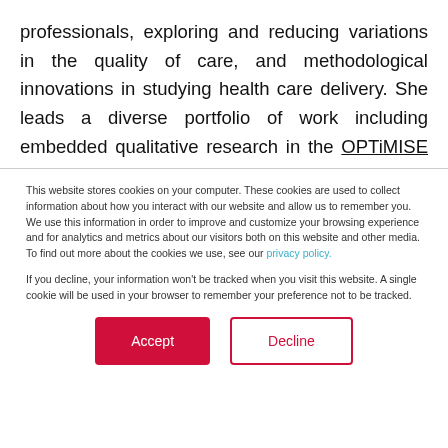professionals, exploring and reducing variations in the quality of care, and methodological innovations in studying health care delivery. She leads a diverse portfolio of work including embedded qualitative research in the OPTiMISE and SAFER trials; multi-method research on improving the safety of maternity care;
This website stores cookies on your computer. These cookies are used to collect information about how you interact with our website and allow us to remember you. We use this information in order to improve and customize your browsing experience and for analytics and metrics about our visitors both on this website and other media. To find out more about the cookies we use, see our privacy policy.

If you decline, your information won't be tracked when you visit this website. A single cookie will be used in your browser to remember your preference not to be tracked.